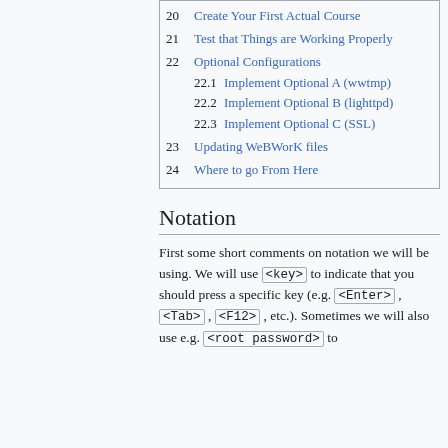20  Create Your First Actual Course
21  Test that Things are Working Properly
22  Optional Configurations
22.1  Implement Optional A (wwtmp)
22.2  Implement Optional B (lighttpd)
22.3  Implement Optional C (SSL)
23  Updating WeBWorK files
24  Where to go From Here
Notation
First some short comments on notation we will be using. We will use <key> to indicate that you should press a specific key (e.g. <Enter> , <Tab> , <F12> , etc.). Sometimes we will also use e.g. <root password> to